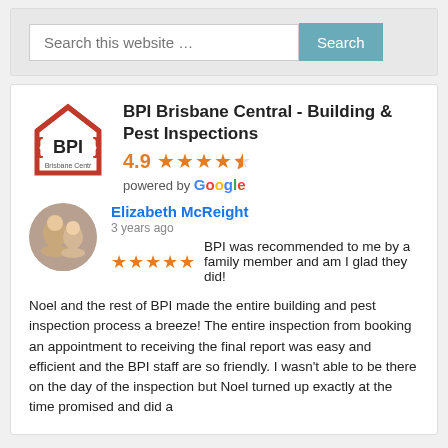[Figure (screenshot): Search bar with text 'Search this website ...' and a blue 'Search' button]
[Figure (logo): BPI Brisbane Central logo - red house outline with BPI text inside]
BPI Brisbane Central - Building & Pest Inspections
4.9 ★★★★☆ powered by Google
Elizabeth McReight
3 years ago
★★★★★ BPI was recommended to me by a family member and am I glad they did!
Noel and the rest of BPI made the entire building and pest inspection process a breeze! The entire inspection from booking an appointment to receiving the final report was easy and efficient and the BPI staff are so friendly. I wasn't able to be there on the day of the inspection but Noel turned up exactly at the time promised and did a